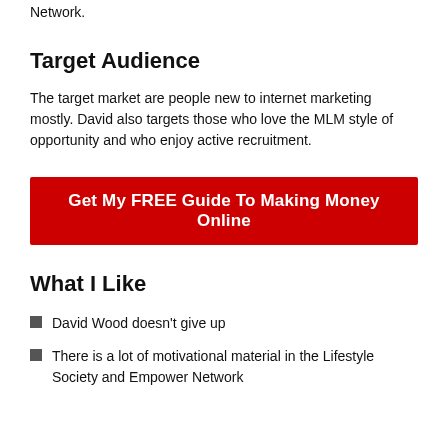Network.
Target Audience
The target market are people new to internet marketing mostly. David also targets those who love the MLM style of opportunity and who enjoy active recruitment.
[Figure (other): Red CTA button: Get My FREE Guide To Making Money Online]
What I Like
David Wood doesn't give up
There is a lot of motivational material in the Lifestyle Society and Empower Network